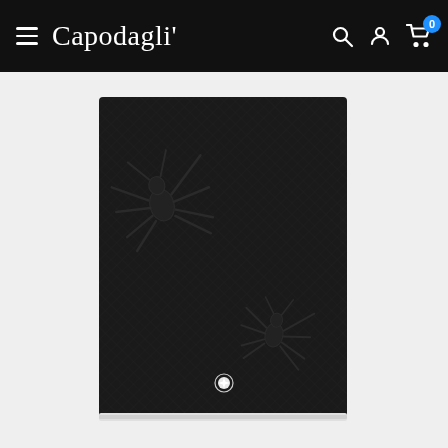Capodagli — navigation bar with hamburger menu, brand logo, search, account, and cart icons
[Figure (photo): Black Montblanc leather notebook/notepad with embossed spider motifs on the cover. The cover features fine saffiano-textured black leather with two spider designs embossed in black — one large spider in the upper-left area and one smaller spider in the lower-right area. A Montblanc snowflake/star logo emblem is centered near the bottom of the cover. The notebook has a white elastic band closure visible at the bottom edge.]